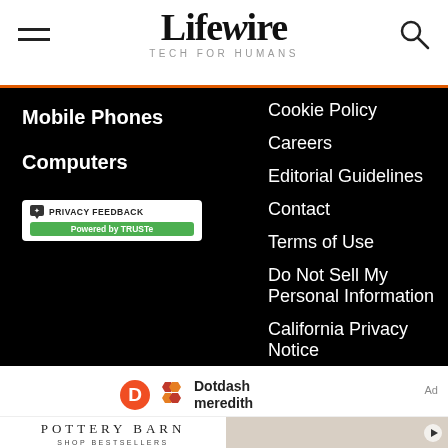Lifewire TECH FOR HUMANS
Mobile Phones
Computers
[Figure (logo): TRUSTe Privacy Feedback badge - white box with speech bubble icon and text 'PRIVACY FEEDBACK' above a green bar reading 'Powered by TRUSTe']
Cookie Policy
Careers
Editorial Guidelines
Contact
Terms of Use
Do Not Sell My Personal Information
California Privacy Notice
[Figure (logo): Dotdash Meredith logo with orange D circle, hexagonal pattern icon, and 'Dotdash meredith' text]
Ad
[Figure (photo): Pottery Barn advertisement showing brand name and 'SHOP BESTSELLERS' text on left, with furniture photo on right]